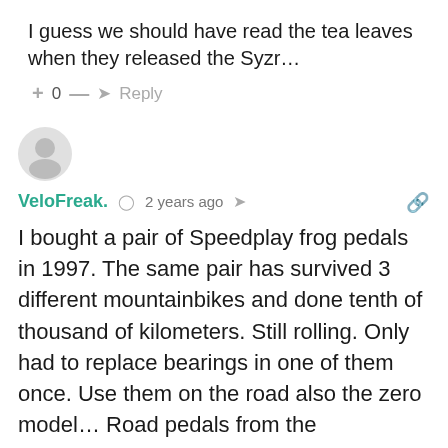I guess we should have read the tea leaves when they released the Syzr…
+ 0 — → Reply
[Figure (illustration): Generic user avatar circle icon]
VeloFreak. ⏱ 2 years ago 🔗 Reply
I bought a pair of Speedplay frog pedals in 1997. The same pair has survived 3 different mountainbikes and done tenth of thousand of kilometers. Still rolling. Only had to replace bearings in one of them once. Use them on the road also the zero model… Road pedals from the competition are a joke. In any case, regular shimano SPD for mtb is better than any other pedal out there, almost. They are heavy, and